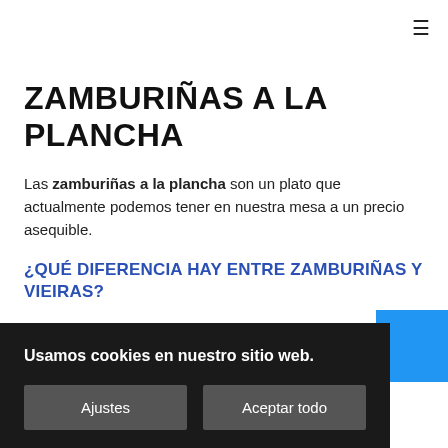≡
ZAMBURIÑAS A LA PLANCHA
Las zamburiñas a la plancha son un plato que actualmente podemos tener en nuestra mesa a un precio asequible.
¿QUÉ DIFERENCIA HAY ENTRE ZAMBURIÑAS Y VIEIRAS?
La diferencia principal entre las vieiras y las zamburiñas es que las vieiras son hasta 3 veces más grandes que las zamburiñas. Tienen una textura más carnosa aunque no son tan ti… ieira es muy a…
¿…
L… ia Pectinidae. También podemos encontrarla llamada samporina o paletiña en…
[Figure (other): Blue square overlay on upper right of cookie/text area]
Usamos cookies en nuestro sitio web.
Ajustes  Aceptar todo